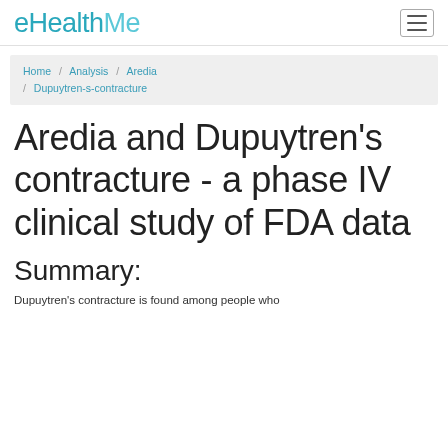eHealthMe
Home / Analysis / Aredia / Dupuytren-s-contracture
Aredia and Dupuytren's contracture - a phase IV clinical study of FDA data
Summary:
Dupuytren's contracture is found among people who